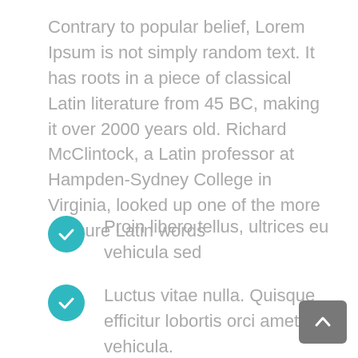Contrary to popular belief, Lorem Ipsum is not simply random text. It has roots in a piece of classical Latin literature from 45 BC, making it over 2000 years old. Richard McClintock, a Latin professor at Hampden-Sydney College in Virginia, looked up one of the more obscure Latin words
Proin libero tellus, ultrices eu vehicula sed
Luctus vitae nulla. Quisque efficitur lobortis orci amet vehicula.
Sed tincidunt tincidunt velit, vel scelerisque nibh tincidunt ut.